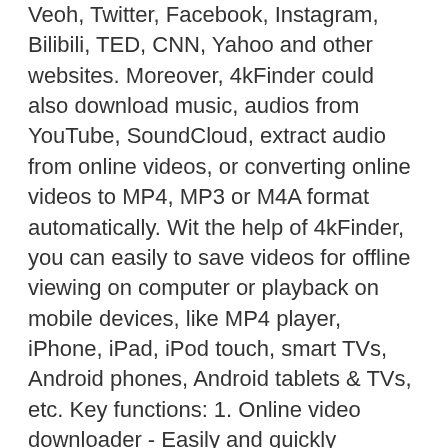Veoh, Twitter, Facebook, Instagram, Bilibili, TED, CNN, Yahoo and other websites. Moreover, 4kFinder could also download music, audios from YouTube, SoundCloud, extract audio from online videos, or converting online videos to MP4, MP3 or M4A format automatically. Wit the help of 4kFinder, you can easily to save videos for offline viewing on computer or playback on mobile devices, like MP4 player, iPhone, iPad, iPod touch, smart TVs, Android phones, Android tablets & TVs, etc. Key functions: 1. Online video downloader - Easily and quickly download the online videos from almost all video sites like YouTube, Facebook, Twitter, Instagram, etc. 2. Convert the online videos to MP3 - This video downloader not only can download videos, but also can convert online videos to MP3 or M4A audio formats. Just directly add video URL to the video downloader to extract audio from online YouTube videos. 3. Download MP3 music - 4kFinder can not only extract audio from the video and save it as a MP3 or M4A file, it also can download the music from a music site to your devices.